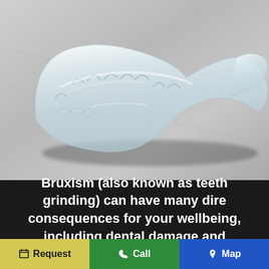[Figure (photo): A clear dental night guard / mouth guard for bruxism, placed on a light grey metallic surface. The transparent plastic guard shows the tooth impressions along its curved form.]
Bruxism (also known as teeth grinding) can have many dire consequences for your wellbeing, including dental damage and
Request   Call   Map